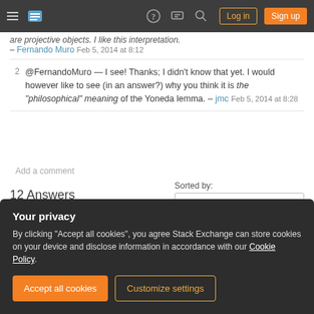Stack Exchange navigation bar with hamburger menu, logo, help, chat, search icons, Log in and Sign up buttons
are projective objects. I like this interpretation. – Fernando Muro Feb 5, 2014 at 8:12
2 @FernandoMuro — I see! Thanks; I didn't know that yet. I would however like to see (in an answer?) why you think it is the "philosophical" meaning of the Yoneda lemma. – jmc Feb 5, 2014 at 8:28
Add a comment
12 Answers
Sorted by: Highest score (default)
Your privacy
By clicking "Accept all cookies", you agree Stack Exchange can store cookies on your device and disclose information in accordance with our Cookie Policy.
Accept all cookies   Customize settings